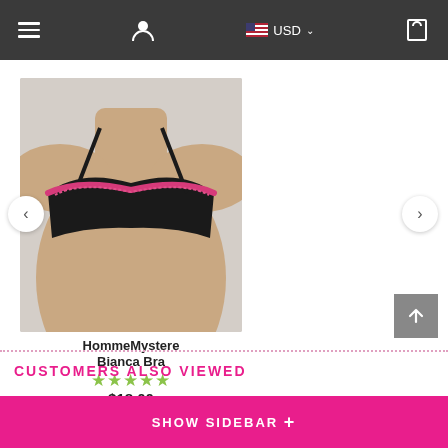☰  👤  🇺🇸 USD ∨  🛍
[Figure (photo): Product photo of a black satin bra with pink lace trim worn on a model, shown from the front torso up.]
HommeMystere
Bianca Bra
★★★★★
$18.00
CUSTOMERS ALSO VIEWED
SHOW SIDEBAR +